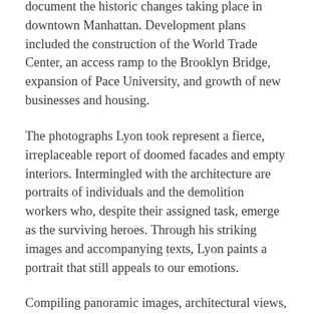document the historic changes taking place in downtown Manhattan. Development plans included the construction of the World Trade Center, an access ramp to the Brooklyn Bridge, expansion of Pace University, and growth of new businesses and housing.
The photographs Lyon took represent a fierce, irreplaceable report of doomed facades and empty interiors. Intermingled with the architecture are portraits of individuals and the demolition workers who, despite their assigned task, emerge as the surviving heroes. Through his striking images and accompanying texts, Lyon paints a portrait that still appeals to our emotions.
Compiling panoramic images, architectural views, and humanistic portraits of demolition workers, Lyon's series serves both as document of and a tribute to a transitional moment in the history of New York City. Fifty years later, Lyon's work continues to resonate with moral power.
A exhibition of The Destruction of Lower Manhattan will